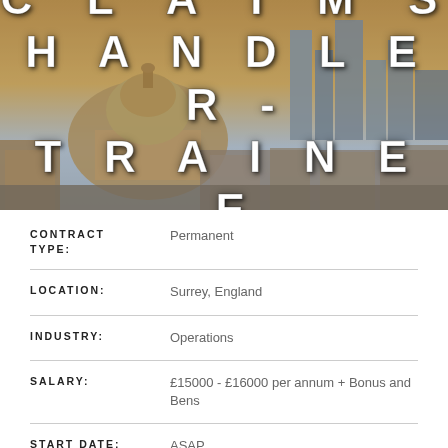[Figure (photo): Aerial photo of London cityscape with St Paul's Cathedral and modern skyscrapers in the background under a warm sky. Overlaid with large bold white text reading CLAIMS HANDLER - TRAINEE.]
CLAIMS HANDLER - TRAINEE
| Field | Value |
| --- | --- |
| CONTRACT TYPE: | Permanent |
| LOCATION: | Surrey, England |
| INDUSTRY: | Operations |
| SALARY: | £15000 - £16000 per annum + Bonus and Bens |
| START DATE: | ASAP |